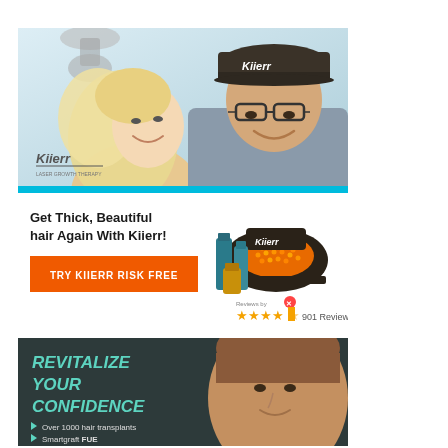[Figure (photo): Kiierr advertisement banner showing a smiling couple, man wearing a Kiierr branded cap, with the Kiierr logo in the lower left and a teal bottom border stripe]
[Figure (infographic): Kiierr product advertisement showing headline 'Get Thick, Beautiful hair Again With Kiierr!', an orange CTA button 'TRY KIIERR RISK FREE', product image of Kiierr laser cap and hair products, 4.5 star rating with 901 Reviews text]
[Figure (photo): Dark-background advertisement banner with teal text 'REVITALIZE YOUR CONFIDENCE', bullet points listing 'Over 1000 hair transplants' and 'Smartgraft FUE', with a man's face on the right side]